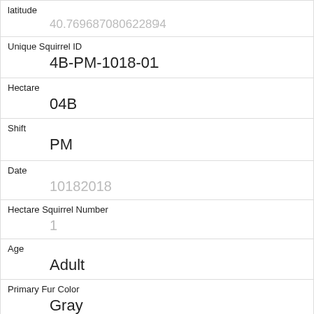| Field | Value |
| --- | --- |
| latitude | 40.769687080622894 |
| Unique Squirrel ID | 4B-PM-1018-01 |
| Hectare | 04B |
| Shift | PM |
| Date | 10182018 |
| Hectare Squirrel Number | 1 |
| Age | Adult |
| Primary Fur Color | Gray |
| Highlight Fur Color |  |
| Combination of Primary and Highlight Color | Gray+ |